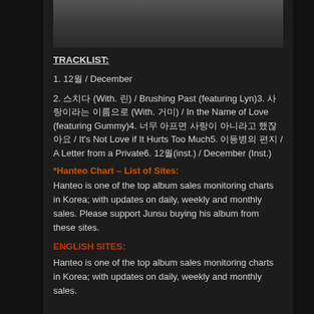[Figure (photo): Top portion of a black and white photo of a person]
TRACKLIST:
1. 12월 / December
2. 스치다 (With. 린) / Brushing Past (featuring Lyn)3. 사랑이라는 이름으로 (With. 거미) / In the Name of Love (featuring Gummy)4. 너무 아프면 사랑이 아니라고 했잖아요 / It's Not Love if It Hurts Too Much5. 이등병의 편지 / A Letter from a Private6. 12월(inst.) / December (Inst.)
*Hanteo Chart – List of Sites:
Hanteo is one of the top album sales monitoring charts in Korea; with updates on daily, weekly and monthly sales. Please support Junsu buying his album from these sites.
ENGLISH SITES:
Hanteo is one of the top album sales monitoring charts in Korea; with updates on daily, weekly and monthly sales.